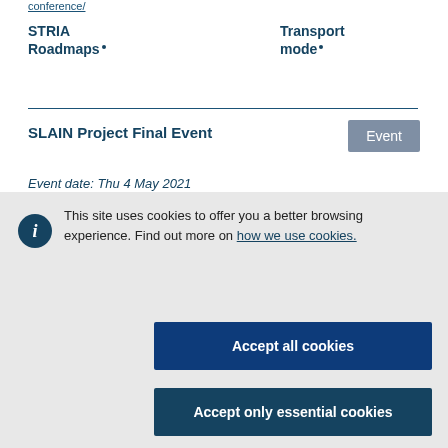conference/
STRIA Roadmaps
Transport mode
SLAIN Project Final Event
Event
Event date: Thu 4 May 2021
This site uses cookies to offer you a better browsing experience. Find out more on how we use cookies.
Accept all cookies
Accept only essential cookies